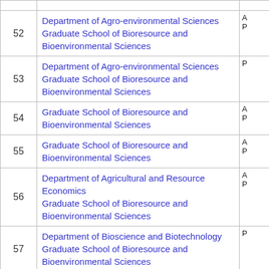| # | Department / School | Abbr |
| --- | --- | --- |
| 52 | Department of Agro-environmental Sciences
Graduate School of Bioresource and Bioenvironmental Sciences | A
P |
| 53 | Department of Agro-environmental Sciences
Graduate School of Bioresource and Bioenvironmental Sciences | P |
| 54 | Graduate School of Bioresource and Bioenvironmental Sciences | A
P |
| 55 | Graduate School of Bioresource and Bioenvironmental Sciences | A
P |
| 56 | Department of Agricultural and Resource Economics
Graduate School of Bioresource and Bioenvironmental Sciences | A
P |
| 57 | Department of Bioscience and Biotechnology
Graduate School of Bioresource and Bioenvironmental Sciences | P |